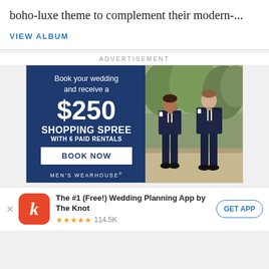boho-luxe theme to complement their modern-...
VIEW ALBUM
ADVERTISEMENT
[Figure (infographic): Men's Wearhouse advertisement: Book your wedding and receive a $250 SHOPPING SPREE WITH 6 PAID RENTALS. Features a BOOK NOW button and two men in dark suits posing outdoors.]
The #1 (Free!) Wedding Planning App by The Knot
★★★★★ 114.5K
GET APP